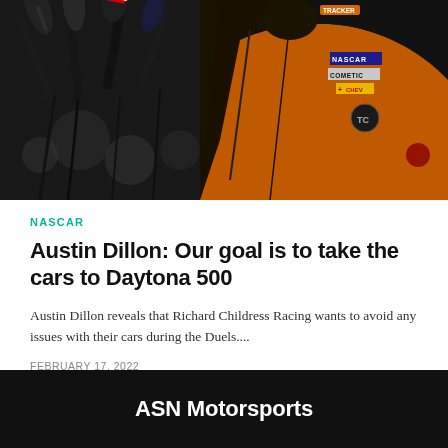[Figure (photo): A NASCAR driver in a black and orange racing suit holding microphones at a press conference. Multiple microphone booms and branded mics crowd the frame. The driver's suit shows NASCAR, Cometic, Chevrolet, and other sponsor logos.]
NASCAR
Austin Dillon: Our goal is to take the cars to Daytona 500
Austin Dillon reveals that Richard Childress Racing wants to avoid any issues with their cars during the Duels....
FEBRUARY 17, 2022
ASN Motorsports